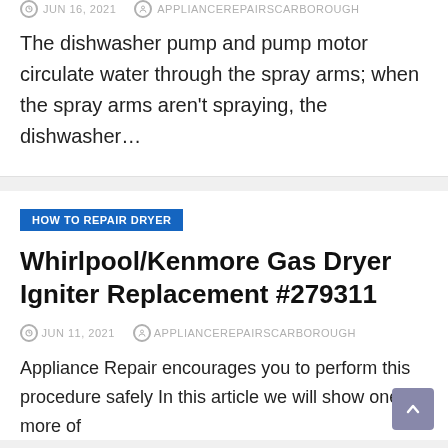JUN 16, 2021  APPLIANCEREPAIRSCARBOROUGH
The dishwasher pump and pump motor circulate water through the spray arms; when the spray arms aren't spraying, the dishwasher…
HOW TO REPAIR DRYER
Whirlpool/Kenmore Gas Dryer Igniter Replacement #279311
JUN 11, 2021  APPLIANCEREPAIRSCARBOROUGH
Appliance Repair encourages you to perform this procedure safely In this article we will show one or more of